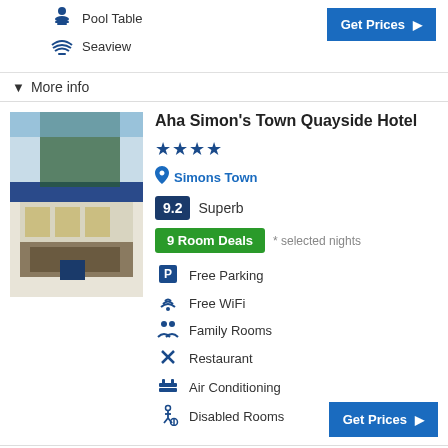Pool Table
Seaview
Get Prices
More info
Aha Simon's Town Quayside Hotel ★★★★
Simons Town
9.2 Superb
9 Room Deals * selected nights
Free Parking
Free WiFi
Family Rooms
Restaurant
Air Conditioning
Disabled Rooms
Get Prices
More info
Albatross Guest House ★★★★